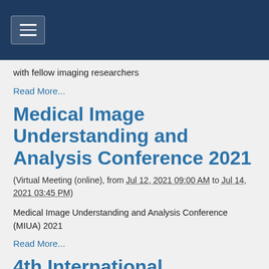[Figure (screenshot): Dark navy navigation bar with hamburger menu icon (three horizontal lines) in a rounded rectangle button]
with fellow imaging researchers
Read More...
Medical Image Understanding and Analysis Conference 2021
(Virtual Meeting (online), from Jul 12, 2021 09:00 AM to Jul 14, 2021 03:45 PM)
Medical Image Understanding and Analysis Conference (MIUA) 2021
Read More...
4th International Conference